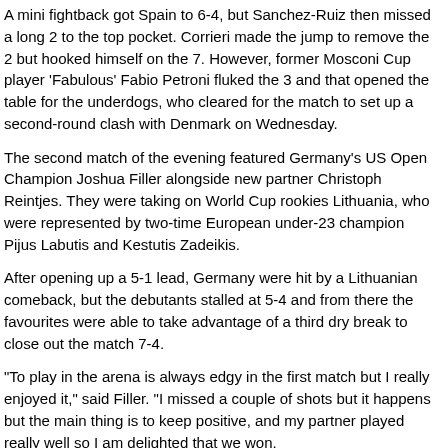A mini fightback got Spain to 6-4, but Sanchez-Ruiz then missed a long 2 to the top pocket. Corrieri made the jump to remove the 2 but hooked himself on the 7. However, former Mosconi Cup player 'Fabulous' Fabio Petroni fluked the 3 and that opened the table for the underdogs, who cleared for the match to set up a second-round clash with Denmark on Wednesday.
The second match of the evening featured Germany's US Open Champion Joshua Filler alongside new partner Christoph Reintjes. They were taking on World Cup rookies Lithuania, who were represented by two-time European under-23 champion Pijus Labutis and Kestutis Zadeikis.
After opening up a 5-1 lead, Germany were hit by a Lithuanian comeback, but the debutants stalled at 5-4 and from there the favourites were able to take advantage of a third dry break to close out the match 7-4.
"To play in the arena is always edgy in the first match but I really enjoyed it," said Filler. "I missed a couple of shots but it happens but the main thing is to keep positive, and my partner played really well so I am delighted that we won.
"You should practice as a team to find your chemistry and rhythm and I think that is the key for every team. I was impressed with Lithuania. I saw them in the practice room and they played good and after 5-1 down they kept fighting."
The session concluded with another match to archive...